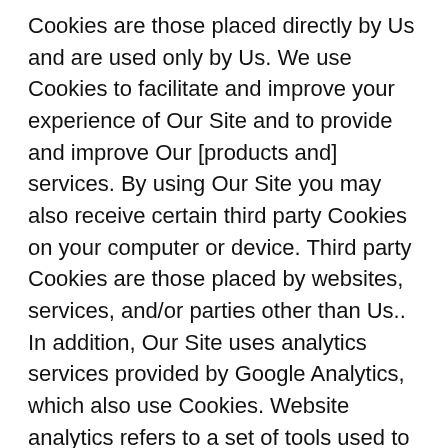Cookies are those placed directly by Us and are used only by Us. We use Cookies to facilitate and improve your experience of Our Site and to provide and improve Our [products and] services. By using Our Site you may also receive certain third party Cookies on your computer or device. Third party Cookies are those placed by websites, services, and/or parties other than Us.. In addition, Our Site uses analytics services provided by Google Analytics, which also use Cookies. Website analytics refers to a set of tools used to collect and analyse usage statistics, enabling Us to better understand how people use Our Site.
Summary of Your Rights under GDPR
Under the GDPR, you have:
the right to request access to, deletion of or